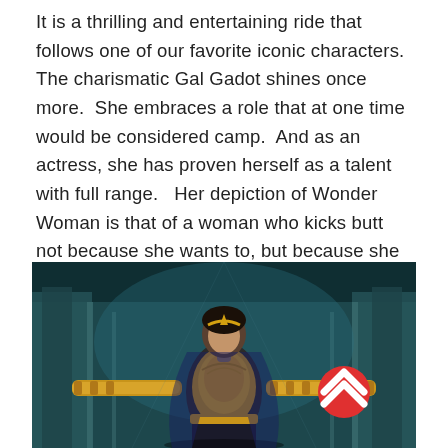It is a thrilling and entertaining ride that follows one of our favorite iconic characters.  The charismatic Gal Gadot shines once more.  She embraces a role that at one time would be considered camp.  And as an actress, she has proven herself as a talent with full range.   Her depiction of Wonder Woman is that of a woman who kicks butt not because she wants to, but because she has to.  And coming from the fashion and modeling world, she stands out in all the costume and makeup choices that the crew have chosen for her.
[Figure (photo): A movie still showing a woman in golden armored Wonder Woman costume with arms outstretched, standing in a dark industrial/sci-fi setting. A red scroll-to-top button is overlaid in the bottom right corner.]